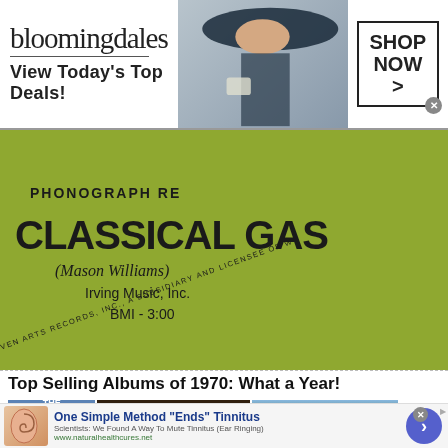[Figure (screenshot): Bloomingdales advertisement banner: logo text, 'View Today's Top Deals!', model with hat, 'SHOP NOW >' button]
[Figure (photo): Close-up of a yellow-green vinyl record label reading: Album, THE, WILL, PHONOGRAPH RE[CORDS], CLASSICAL GAS, (Mason Williams), Irving Music, Inc., BMI - 3:00, SEVEN ARTS RECORDS, INC., A SUBSIDIARY AND LICENSEE OF W[arner Bros.]]
Top Selling Albums of 1970: What a Year!
[Figure (photo): Three album covers side by side: The Who Live at Leeds (blue), Crosby, Stills, Nash & Young / James Taylor & Carole King (dark brown/gold), and a third album with trees]
[Figure (screenshot): Advertisement: 'One Simple Method "Ends" Tinnitus' - Scientists: We Found A Way To Mute Tinnitus (Ear Ringing) - www.naturalhealthcures.net, with ear illustration and blue circular button]